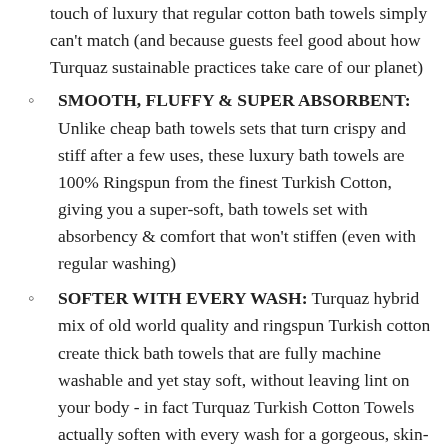touch of luxury that regular cotton bath towels simply can’t match (and because guests feel good about how Turquaz sustainable practices take care of our planet)
SMOOTH, FLUFFY & SUPER ABSORBENT: Unlike cheap bath towels sets that turn crispy and stiff after a few uses, these luxury bath towels are 100% Ringspun from the finest Turkish Cotton, giving you a super-soft, bath towels set with absorbency & comfort that won’t stiffen (even with regular washing)
SOFTER WITH EVERY WASH: Turquaz hybrid mix of old world quality and ringspun Turkish cotton create thick bath towels that are fully machine washable and yet stay soft, without leaving lint on your body - in fact Turquaz Turkish Cotton Towels actually soften with every wash for a gorgeous, skin-friendly feel that lasts
RESPONSIBLY CRAFTED FOR FAST DRYING: As you check out the pictures, notice the plush, 100% Turkish Cotton